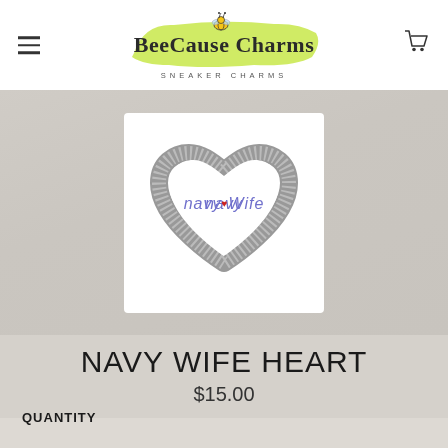BeeCause Charms — SNEAKER CHARMS
[Figure (photo): A heart-shaped silver glitter charm with 'Navy Wife' text and a small red heart in the center, displayed on a white/light background.]
NAVY WIFE HEART
$15.00
QUANTITY